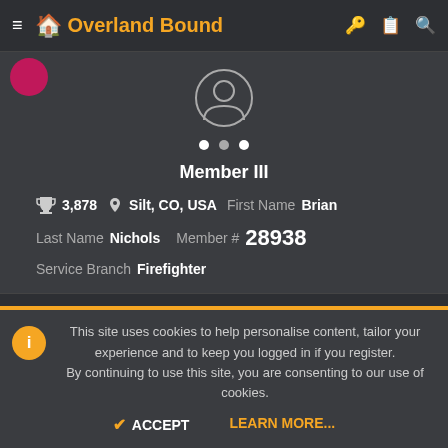Overland Bound
[Figure (screenshot): User profile card showing Member III, trophy icon with 3,878 points, location Silt CO USA, First Name Brian, Last Name Nichols, Member # 28938, Service Branch Firefighter]
May 17, 2022   < #2
Absolutely makes sense! I came from the Adventure Motorcycle
This site uses cookies to help personalise content, tailor your experience and to keep you logged in if you register. By continuing to use this site, you are consenting to our use of cookies.
ACCEPT   LEARN MORE...